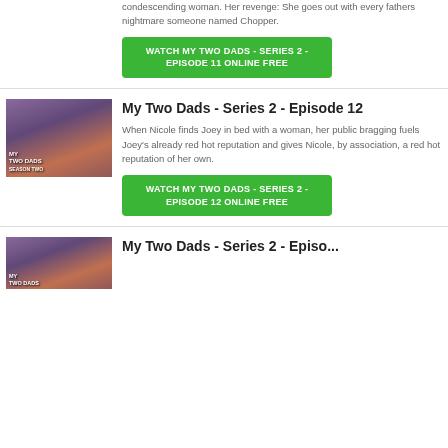condescending woman. Her revenge: She goes out with every fathers nightmare someone named Chopper.
WATCH MY TWO DADS - SERIES 2 - EPISODE 11 ONLINE FREE
[Figure (photo): My Two Dads Season Two promotional image showing three people]
My Two Dads - Series 2 - Episode 12
When Nicole finds Joey in bed with a woman, her public bragging fuels Joey's already red hot reputation and gives Nicole, by association, a red hot reputation of her own.
WATCH MY TWO DADS - SERIES 2 - EPISODE 12 ONLINE FREE
[Figure (photo): My Two Dads Season Two promotional image showing people]
My Two Dads - Series 2 - Episode 13